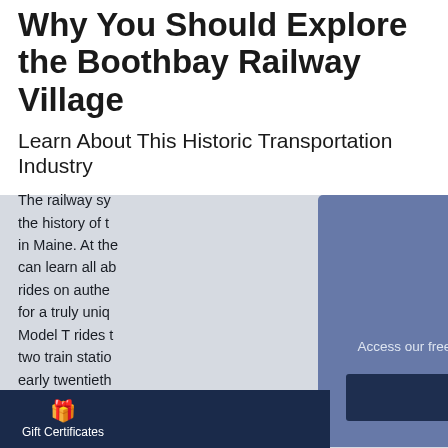Why You Should Explore the Boothbay Railway Village
Learn About This Historic Transportation Industry
The railway sy... the history of t... in Maine. At the... can learn all ab... rides on authe... for a truly uniq... Model T rides t... two train statio... early twentieth... information fro... participate in t...
[Figure (infographic): Modal popup overlay with blue background reading 'Request our Boothbay Harbor Vacation Guide' with subtitle 'Access our free vacation guide for Boothbay Harbor's best-kept secrets, local tips, and must-see attractions!' and a dark blue button 'Get the Guide >']
Gift Certificates